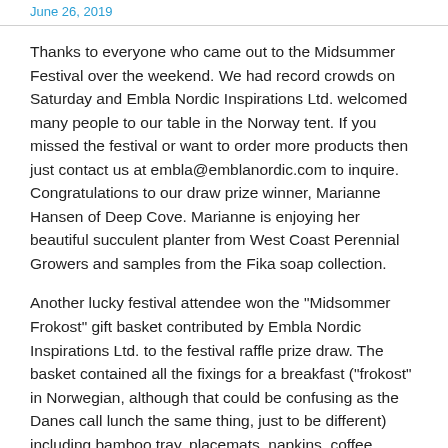June 26, 2019
Thanks to everyone who came out to the Midsummer Festival over the weekend. We had record crowds on Saturday and Embla Nordic Inspirations Ltd. welcomed many people to our table in the Norway tent. If you missed the festival or want to order more products then just contact us at embla@emblanordic.com to inquire. Congratulations to our draw prize winner, Marianne Hansen of Deep Cove. Marianne is enjoying her beautiful succulent planter from West Coast Perennial Growers and samples from the Fika soap collection.
Another lucky festival attendee won the "Midsommer Frokost" gift basket contributed by Embla Nordic Inspirations Ltd. to the festival raffle prize draw. The basket contained all the fixings for a breakfast ("frokost" in Norwegian, although that could be confusing as the Danes call lunch the same thing, just to be different) including bamboo tray, placemats, napkins, coffee maker, two Denby coffee mugs, organic blueberry jam, tea, coffee and home-made pulla, which is Finnish cardamom coffee bread, along with candles and